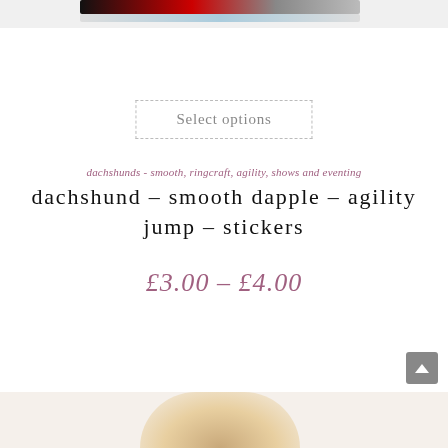[Figure (photo): Partial top image showing a dachshund sticker or product image, cropped at top of page]
Select options
dachshunds - smooth, ringcraft, agility, shows and eventing
dachshund – smooth dapple – agility jump – stickers
£3.00 – £4.00
[Figure (photo): Partial bottom image showing top of a dachshund dog's head, cropped at bottom of page]